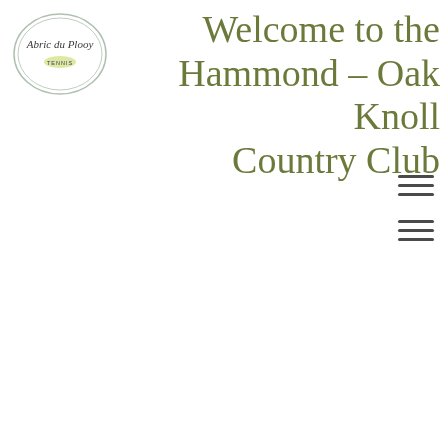[Figure (logo): Abric du Plooy Tennis logo — circular/oval outline with stylized script text 'Abric du Plooy' and 'TENNIS' below]
Welcome to the Hammond – Oak Knoll Country Club